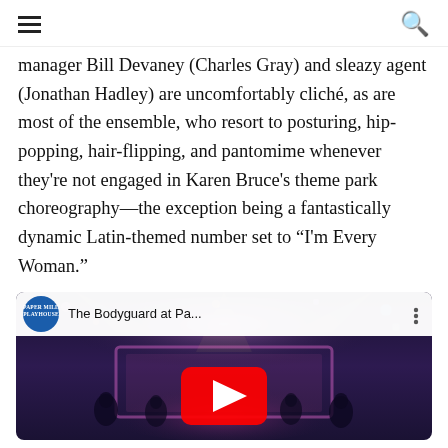[hamburger menu] [search icon]
manager Bill Devaney (Charles Gray) and sleazy agent (Jonathan Hadley) are uncomfortably cliché, as are most of the ensemble, who resort to posturing, hip-popping, hair-flipping, and pantomime whenever they're not engaged in Karen Bruce's theme park choreography—the exception being a fantastically dynamic Latin-themed number set to “I'm Every Woman.”
[Figure (screenshot): YouTube video thumbnail for 'The Bodyguard at Pa...' with Paper Mill Playhouse logo, showing performers on a purple/pink-lit stage with a red YouTube play button overlay]